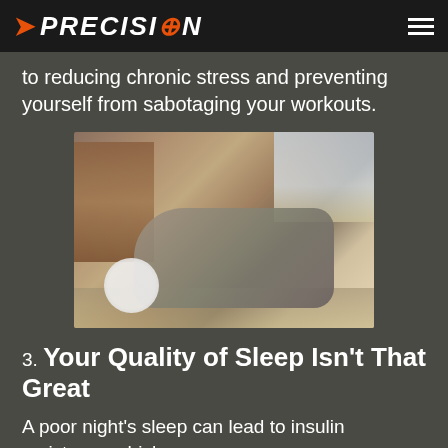PRECISION
to reducing chronic stress and preventing yourself from sabotaging your workouts.
[Figure (photo): Person lying on the floor next to a bed with an alarm clock nearby, appearing tired or struggling to get up.]
3. Your Quality of Sleep Isn't That Great
A poor night's sleep can lead to insulin resistance which means